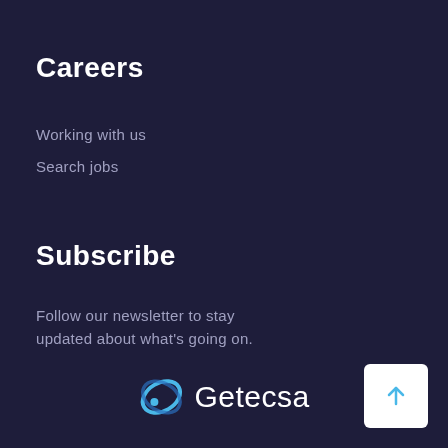Careers
Working with us
Search jobs
Subscribe
Follow our newsletter to stay updated about what's going on.
[Figure (logo): Getecsa logo with a stylized blue/teal swirl icon and 'Getecsa' wordmark in white]
[Figure (other): Back to top button: white rounded square with upward arrow]